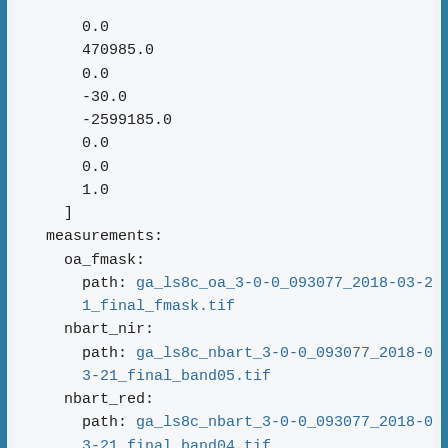0.0
    470985.0
    0.0
    -30.0
    -2599185.0
    0.0
    0.0
    1.0
  ]
measurements:
  oa_fmask:
    path: ga_ls8c_oa_3-0-0_093077_2018-03-21_final_fmask.tif
  nbart_nir:
    path: ga_ls8c_nbart_3-0-0_093077_2018-03-21_final_band05.tif
  nbart_red:
    path: ga_ls8c_nbart_3-0-0_093077_2018-03-21_final_band04.tif